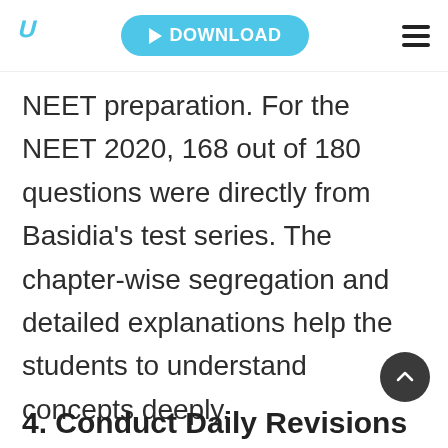B  DOWNLOAD  ≡
NEET preparation. For the NEET 2020, 168 out of 180 questions were directly from Basidia's test series. The chapter-wise segregation and detailed explanations help the students to understand concepts deeply.
4. Conduct Daily Revisions